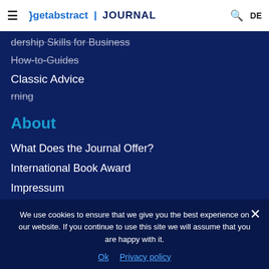getabstract | JOURNAL
dership Skills for Business
How-to-Guides
Classic Advice
rning
About
What Does the Journal Offer?
International Book Award
Impressum
Privacy Policy
We use cookies to ensure that we give you the best experience on our website. If you continue to use this site we will assume that you are happy with it.
Ok   Privacy policy